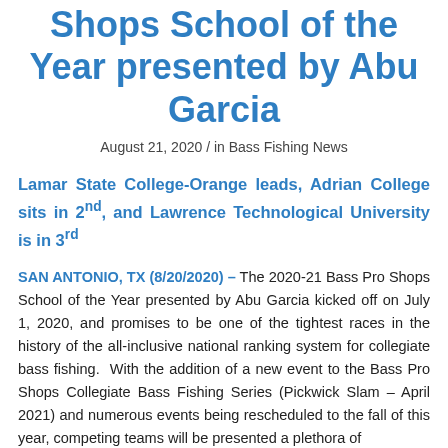Shops School of the Year presented by Abu Garcia
August 21, 2020 / in Bass Fishing News
Lamar State College-Orange leads, Adrian College sits in 2nd, and Lawrence Technological University is in 3rd
SAN ANTONIO, TX (8/20/2020) – The 2020-21 Bass Pro Shops School of the Year presented by Abu Garcia kicked off on July 1, 2020, and promises to be one of the tightest races in the history of the all-inclusive national ranking system for collegiate bass fishing. With the addition of a new event to the Bass Pro Shops Collegiate Bass Fishing Series (Pickwick Slam – April 2021) and numerous events being rescheduled to the fall of this year, competing teams will be presented a plethora of